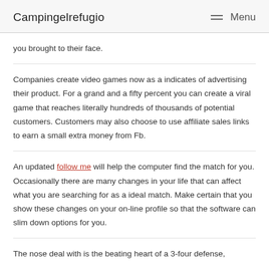Campingelrefugio   Menu
you brought to their face.
Companies create video games now as a indicates of advertising their product. For a grand and a fifty percent you can create a viral game that reaches literally hundreds of thousands of potential customers. Customers may also choose to use affiliate sales links to earn a small extra money from Fb.
An updated follow me will help the computer find the match for you. Occasionally there are many changes in your life that can affect what you are searching for as a ideal match. Make certain that you show these changes on your on-line profile so that the software can slim down options for you.
The nose deal with is the beating heart of a 3-four defense,